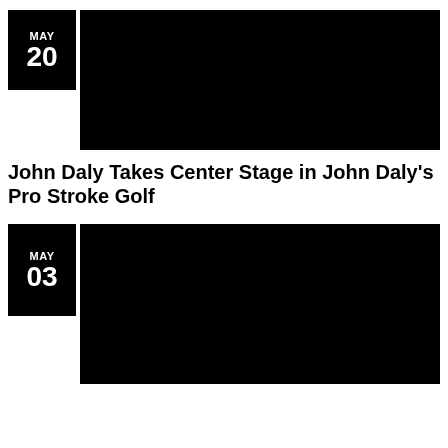[Figure (other): Date badge showing MAY 20 in white text on black background, beside a black rectangular image placeholder]
John Daly Takes Center Stage in John Daly's Pro Stroke Golf
[Figure (other): Date badge showing MAY 03 in white text on black background, beside a black rectangular image placeholder]